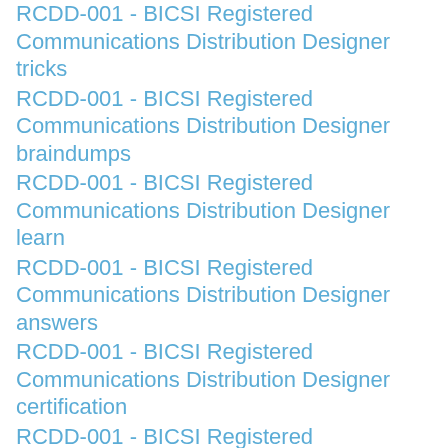RCDD-001 - BICSI Registered Communications Distribution Designer tricks
RCDD-001 - BICSI Registered Communications Distribution Designer braindumps
RCDD-001 - BICSI Registered Communications Distribution Designer learn
RCDD-001 - BICSI Registered Communications Distribution Designer answers
RCDD-001 - BICSI Registered Communications Distribution Designer certification
RCDD-001 - BICSI Registered Communications Distribution Designer study help